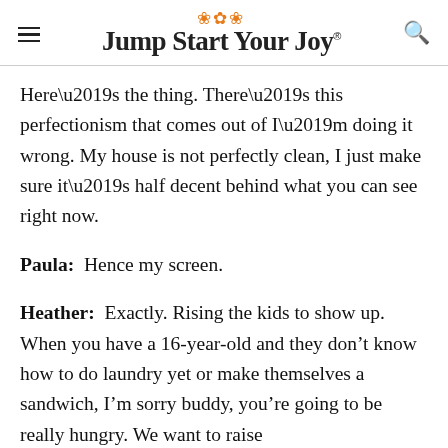Jump Start Your Joy
Here’s the thing. There’s this perfectionism that comes out of I’m doing it wrong. My house is not perfectly clean, I just make sure it’s half decent behind what you can see right now.
Paula:  Hence my screen.
Heather:  Exactly. Rising the kids to show up. When you have a 16-year-old and they don’t know how to do laundry yet or make themselves a sandwich, I’m sorry buddy, you’re going to be really hungry. We want to raise